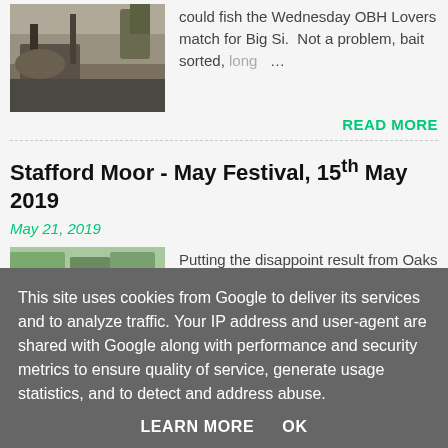[Figure (photo): Photo of fishing gear/tackle box near water with vegetation in background]
could fish the Wednesday OBH Lovers match for Big Si.  Not a problem, bait sorted, long …
READ MORE
Stafford Moor - May Festival, 15th May 2019
May 21, 2019
[Figure (photo): Photo of a lake with fishing platform/boat and trees in background]
Putting the disappoint result from Oaks behind me it was fishing Tanners that I was looking forward to next.  The easterly wind had star …
This site uses cookies from Google to deliver its services and to analyze traffic. Your IP address and user-agent are shared with Google along with performance and security metrics to ensure quality of service, generate usage statistics, and to detect and address abuse.
LEARN MORE    OK